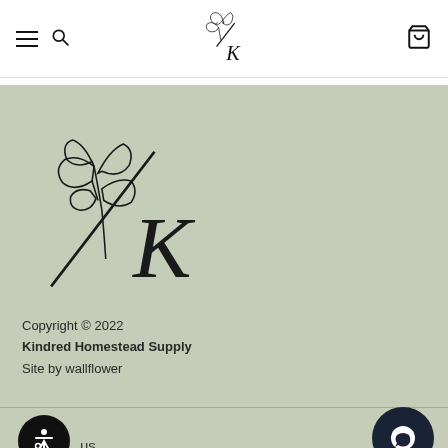Kindred Homestead Supply – navigation header with hamburger menu, search icon, logo, and bag icon
[Figure (logo): Kindred Homestead Supply logo – botanical leaf illustration with a diagonal slash and letter K, large version in sage green footer]
Copyright © 2022
Kindred Homestead Supply
Site by wallflower
Social media icons: Facebook, Pinterest, Instagram, YouTube, LinkedIn